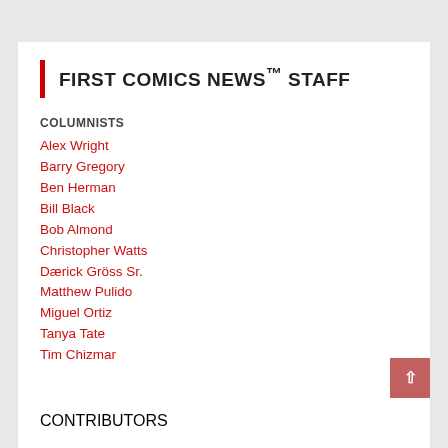FIRST COMICS NEWS™ STAFF
COLUMNISTS
Alex Wright
Barry Gregory
Ben Herman
Bill Black
Bob Almond
Christopher Watts
Dærick Gröss Sr.
Matthew Pulido
Miguel Ortiz
Tanya Tate
Tim Chizmar
CONTRIBUTORS